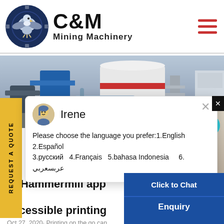[Figure (logo): C&M Mining Machinery logo with eagle/gear icon in dark blue circle, bold C&M text and Mining Machinery subtitle]
[Figure (photo): Industrial mining machinery equipment in a facility, blue and white cylindrical equipment visible]
REQUEST A QUOTE
[Figure (screenshot): Chat popup with agent Irene avatar showing language selection options]
Irene
Please choose the language you prefer:1.English  2.Español  3.русский  4.Français  5.bahasa Indonesia   6. عربية
[Figure (photo): Female customer service representative with headset, smiling, with teal notification badge showing number 1]
nt Hammermill app m accessible printing
Oct 27, 2020· Printing on the go can difficult for college students, but th
Click to Chat
Enquiry